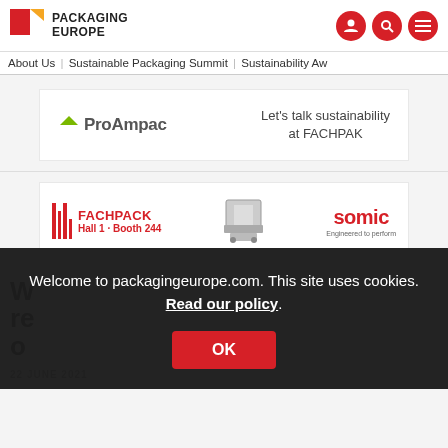Packaging Europe
About Us | Sustainable Packaging Summit | Sustainability Aw
[Figure (screenshot): ProAmpac advertisement banner: ProAmpac logo on left, text 'Let's talk sustainability at FACHPAK' on right]
[Figure (screenshot): SOMIC advertisement banner: FACHPACK Hall 1 · Booth 244 with barcode graphic and SOMIC Engineered to perform logo]
W
re
o
22 JUNE 2021
Welcome to packagingeurope.com. This site uses cookies. Read our policy.
OK